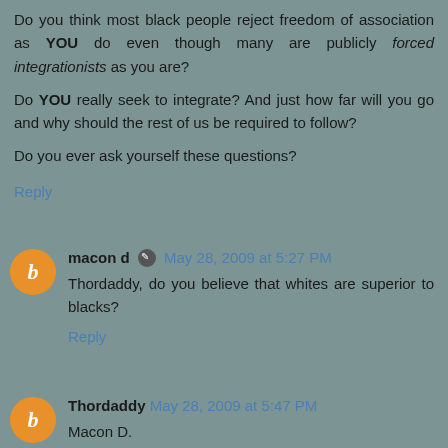Do you think most black people reject freedom of association as YOU do even though many are publicly forced integrationists as you are?

Do YOU really seek to integrate? And just how far will you go and why should the rest of us be required to follow?

Do you ever ask yourself these questions?
Reply
macon d  May 28, 2009 at 5:27 PM
Thordaddy, do you believe that whites are superior to blacks?
Reply
Thordaddy  May 28, 2009 at 5:47 PM
Macon D.